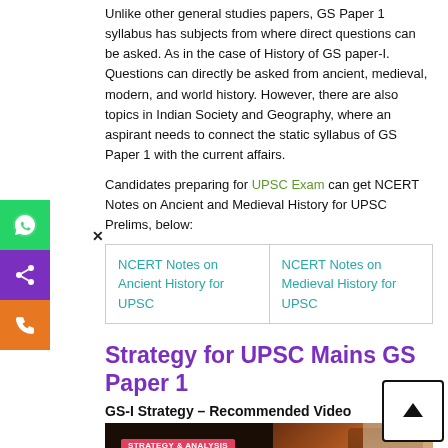Unlike other general studies papers, GS Paper 1 syllabus has subjects from where direct questions can be asked. As in the case of History of GS paper-I. Questions can directly be asked from ancient, medieval, modern, and world history. However, there are also topics in Indian Society and Geography, where an aspirant needs to connect the static syllabus of GS Paper 1 with the current affairs.
Candidates preparing for UPSC Exam can get NCERT Notes on Ancient and Medieval History for UPSC Prelims, below:
| NCERT Notes on Ancient History for UPSC | NCERT Notes on Medieval History for UPSC |
Strategy for UPSC Mains GS Paper 1
GS-I Strategy – Recommended Video
[Figure (screenshot): Video thumbnail showing Indian Heritage and Culture, History and Geography of the World and Society with Strategy & Analysis badge]